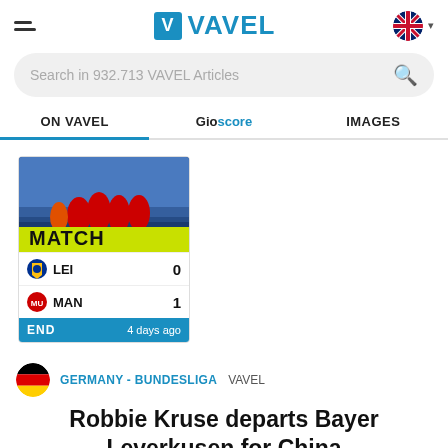VAVEL
Search in 932.713 VAVEL Articles
ON VAVEL | Gioscore | IMAGES
[Figure (screenshot): Soccer match score card: LEI 0 - MAN 1, match ended 4 days ago, with a match photo showing Manchester United players celebrating in red jerseys in front of a MATCH advertisement board]
GERMANY - BUNDESLIGA VAVEL
Robbie Kruse departs Bayer Leverkusen for China